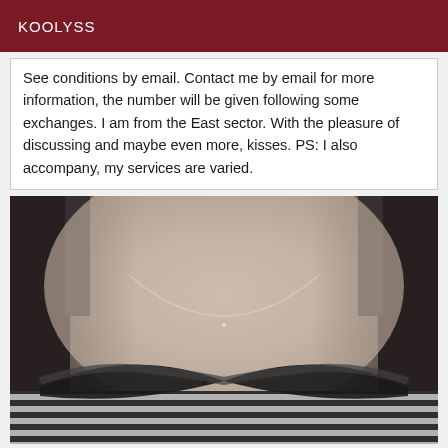KOOLYSS
See conditions by email. Contact me by email for more information, the number will be given following some exchanges. I am from the East sector. With the pleasure of discussing and maybe even more, kisses. PS: I also accompany, my services are varied.
[Figure (photo): Close-up black and white photo of a person wearing a striped bra and a delicate chain necklace]